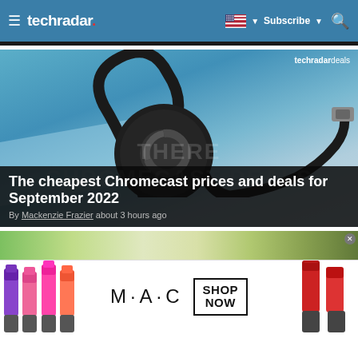techradar | Subscribe | Search
[Figure (screenshot): TechRadar article hero image showing a black Google Chromecast device against a blue background, with 'techradar deals' watermark top right and 'CHROMECAST DEALS' text overlay in background]
The cheapest Chromecast prices and deals for September 2022
By Mackenzie Frazier about 3 hours ago
[Figure (photo): Partial view of a second article image showing outdoor/garden scene]
[Figure (photo): MAC cosmetics advertisement banner showing colorful lipsticks on the left and right sides, MAC logo in center, with SHOP NOW button]